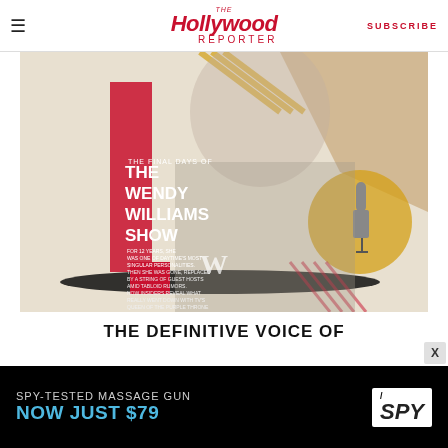The Hollywood Reporter | SUBSCRIBE
[Figure (illustration): Magazine cover illustration for The Hollywood Reporter featuring a black-and-white photo of Wendy Williams with colorful collage elements. Text overlay reads: 'THE FINAL DAYS OF THE WENDY WILLIAMS SHOW. FOR 12 YEARS, SHE WAS ONE OF DAYTIME'S MOST SINGULAR PERSONALITIES. THEN SHE WAS GONE, REPLACED BY A STRING OF GUEST HOSTS AMID TABLOID RUMORS. NOW INSIDERS REVEAL WHAT REALLY WENT DOWN WITH TV'S QUEEN OF THE PURPLE THRONE']
THE DEFINITIVE VOICE OF
[Figure (other): SPY advertisement banner: 'SPY-TESTED MASSAGE GUN NOW JUST $79' with SPY logo]